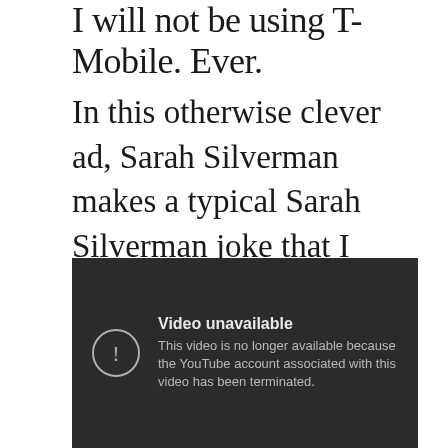I will not be using T-Mobile. Ever.
In this otherwise clever ad, Sarah Silverman makes a typical Sarah Silverman joke that I would laugh at in a club. On national TV, it’s inappropriate and ugly:
[Figure (screenshot): Embedded YouTube video player showing an error message: 'Video unavailable. This video is no longer available because the YouTube account associated with this video has been terminated.']